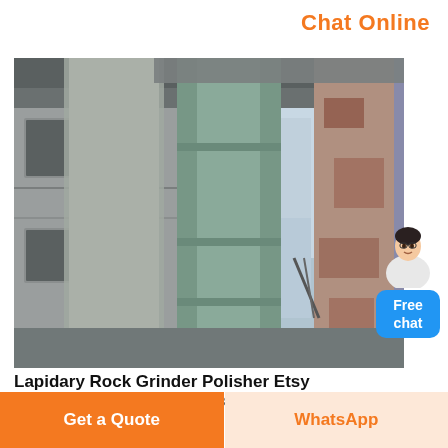Chat Online
[Figure (photo): Industrial building exterior with large cylindrical pipes/silos, concrete walls with windows, photographed from a low angle looking up against a pale blue sky.]
Lapidary Rock Grinder Polisher Etsy
Lapidary rock grinder polisher 140 of 536 results price any price under 25 25 to 50 50
Get a Quote
WhatsApp